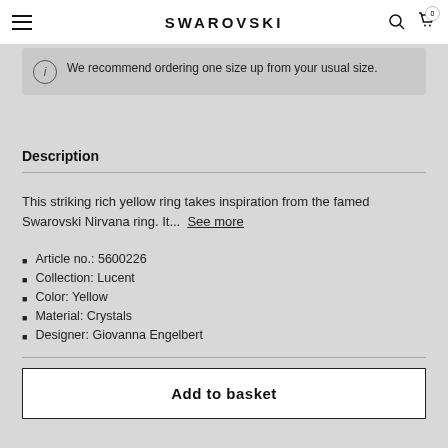SWAROVSKI
We recommend ordering one size up from your usual size.
Description
This striking rich yellow ring takes inspiration from the famed Swarovski Nirvana ring. It... See more
Article no.: 5600226
Collection: Lucent
Color: Yellow
Material: Crystals
Designer: Giovanna Engelbert
Add to basket